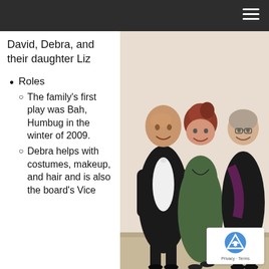David, Debra, and their daughter Liz
Roles
The family's first play was Bah, Humbug in the winter of 2009.
Debra helps with costumes, makeup, and hair and is also the board's Vice
[Figure (photo): Three people posing together: a bald man in a tuxedo on the left, a woman in a green period dress in the center, and a woman in black with a purple scarf on the right.]